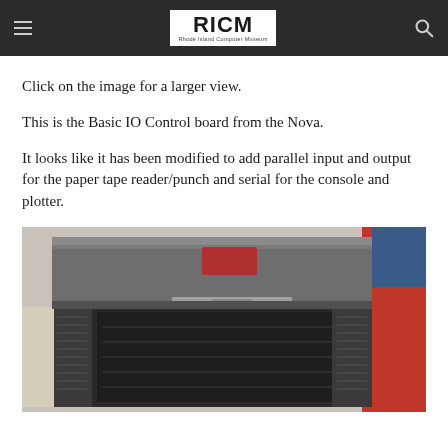RICM Rhode Island Computer Museum
Click on the image for a larger view.
This is the Basic IO Control board from the Nova.
It looks like it has been modified to add parallel input and output for the paper tape reader/punch and serial for the console and plotter.
[Figure (photo): Photograph of a computer hardware chassis/rack unit showing a metal enclosure with ventilation slots, circuit boards visible inside, and red cabinet sides. This is the Basic IO Control board area from a Nova computer system.]